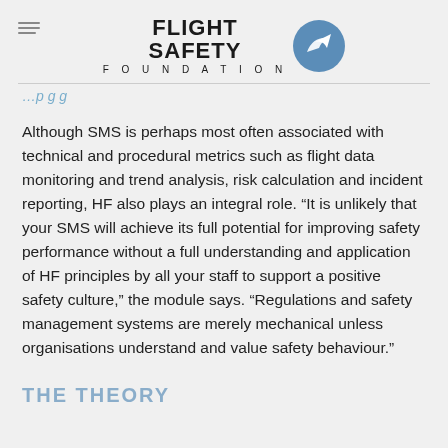Flight Safety Foundation
Although SMS is perhaps most often associated with technical and procedural metrics such as flight data monitoring and trend analysis, risk calculation and incident reporting, HF also plays an integral role. “It is unlikely that your SMS will achieve its full potential for improving safety performance without a full understanding and application of HF principles by all your staff to support a positive safety culture,” the module says. “Regulations and safety management systems are merely mechanical unless organisations understand and value safety behaviour.”
THE THEORY